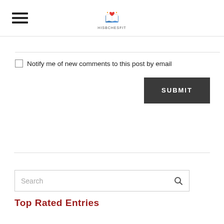HISBCHESFIT (logo with hamburger menu)
Notify me of new comments to this post by email
SUBMIT
Search
Top Rated Entries